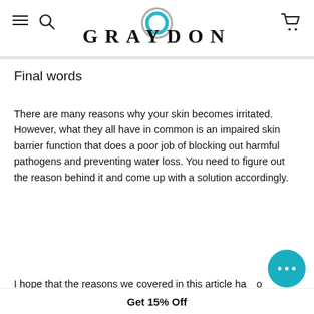GRAYDON
Final words
There are many reasons why your skin becomes irritated. However, what they all have in common is an impaired skin barrier function that does a poor job of blocking out harmful pathogens and preventing water loss. You need to figure out the reason behind it and come up with a solution accordingly.
I hope that the reasons we covered in this article ha...o d w
Get 15% Off